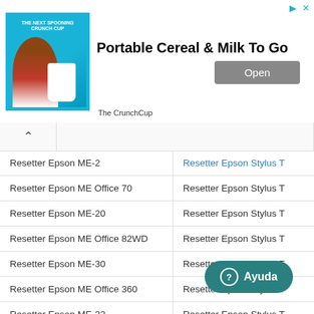[Figure (screenshot): Advertisement banner for The CrunchCup - Portable Cereal & Milk To Go product, with Open button]
| Column 1 | Column 2 |
| --- | --- |
| Resetter Epson ME-2 | Resetter Epson Stylus T |
| Resetter Epson ME Office 70 | Resetter Epson Stylus T |
| Resetter Epson ME-20 | Resetter Epson Stylus T |
| Resetter Epson ME Office 82WD | Resetter Epson Stylus T |
| Resetter Epson ME-30 | Resetter Epson Stylus T |
| Resetter Epson ME Office 360 | Resetter Epson Stylus T |
| Resetter Epson ME-32 | Resetter Epson Stylus T |
| Resetter Epson ME Office 510 | Resetter Epson Stylus T |
| Resetter Epson ME-33 | Resetter Epson Stylus T |
| Resetter Epson ME Office 520 | Resetter Epson Stylus T |
| Resetter Epson ME-35 |  |